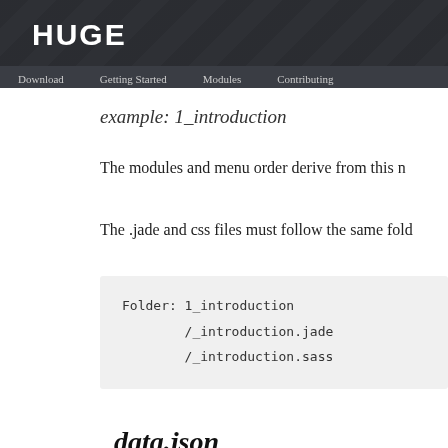HUGE
Download   Getting Started   Modules   Contributing
example: 1_introduction
The modules and menu order derive from this n
The .jade and css files must follow the same fold
Folder: 1_introduction
        /_introduction.jade
        /_introduction.sass
_data.json
In this file you can set the module and it's conte